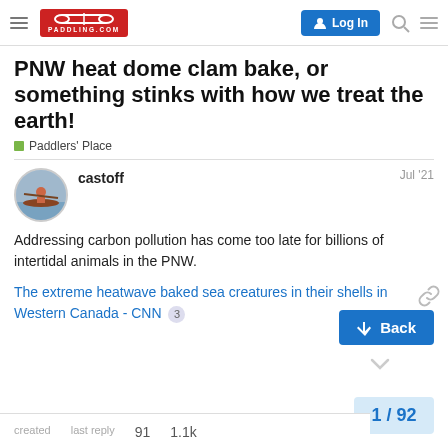PADDLING.COM | Log In
PNW heat dome clam bake, or something stinks with how we treat the earth!
Paddlers' Place
castoff   Jul '21
Addressing carbon pollution has come too late for billions of intertidal animals in the PNW.
The extreme heatwave baked sea creatures in their shells in Western Canada - CNN 3
1 / 92
created   last reply   91   1.1k